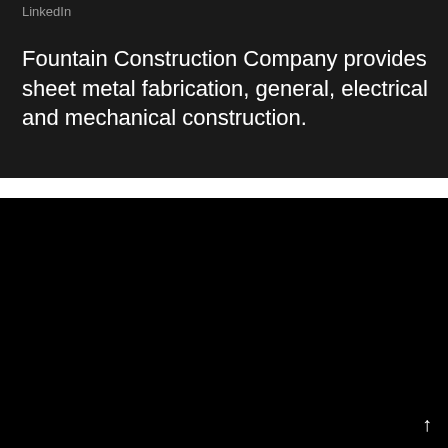LinkedIn
Fountain Construction Company provides sheet metal fabrication, general, electrical and mechanical construction.
Bard Commercial Properties